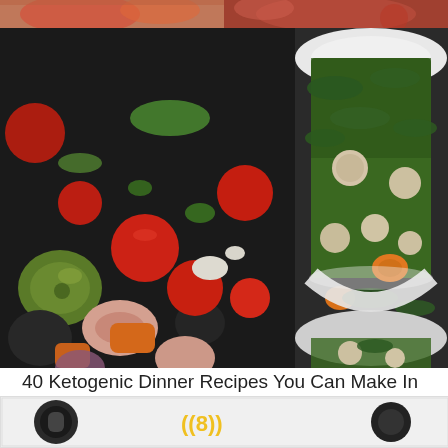[Figure (photo): Partial top strip of two food photos cropped at the top of the page — left side shows a dish with red/orange food, right side shows another food dish with red tones]
[Figure (photo): Left: large close-up photo of an Italian antipasto salad with green and black olives, cherry tomatoes, rolled ham slices, mozzarella, roasted peppers, and herbs on a dark background. Right: photo of a white bowl containing Italian wedding soup with meatballs, spinach, carrots, and broth.]
40 Ketogenic Dinner Recipes You Can Make In 30 Minutes Or
[Figure (photo): Bottom strip partially visible — appears to show a podcast or audio-related image with a microphone icon and yellow logo/text partially cropped]